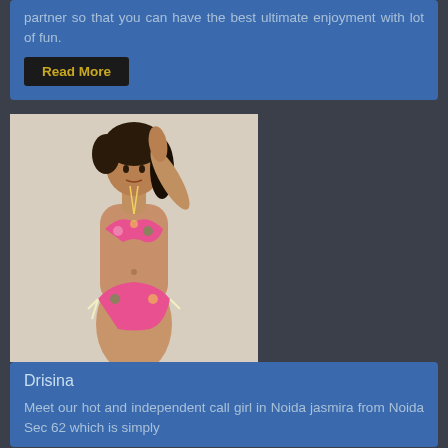partner so that you can have the best ultimate enjoyment with lot of fun.
Read More
[Figure (photo): A woman in a floral pink and green bikini posing sideways with arm raised above head, against a light background.]
Drisina
Meet our hot and independent call girl in Noida jasmira from Noida Sec 62 which is simply